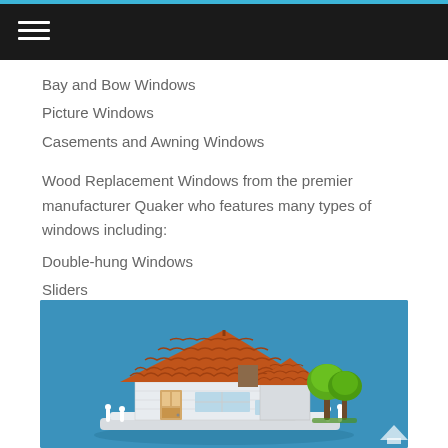☰
Bay and Bow Windows
Picture Windows
Casements and Awning Windows
Wood Replacement Windows from the premier manufacturer Quaker who features many types of windows including:
Double-hung Windows
Sliders
Casement
[Figure (illustration): 3D illustration of a small house with a terracotta tile roof, white brick walls, a front door, windows, and two green cartoon-style trees on a blue background with a scroll-up arrow in the bottom right corner.]